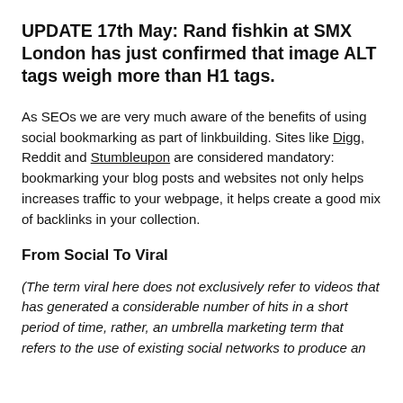UPDATE 17th May: Rand fishkin at SMX London has just confirmed that image ALT tags weigh more than H1 tags.
As SEOs we are very much aware of the benefits of using social bookmarking as part of linkbuilding. Sites like Digg, Reddit and Stumbleupon are considered mandatory: bookmarking your blog posts and websites not only helps increases traffic to your webpage, it helps create a good mix of backlinks in your collection.
From Social To Viral
(The term viral here does not exclusively refer to videos that has generated a considerable number of hits in a short period of time, rather, an umbrella marketing term that refers to the use of existing social networks to produce an